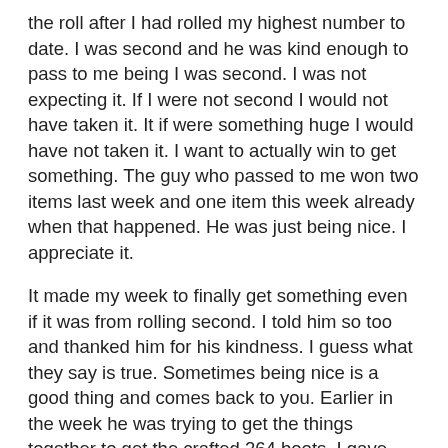the roll after I had rolled my highest number to date.  I was second and he was kind enough to pass to me being I was second.  I was not expecting it.  If I were not second I would not have taken it.  It if were something huge I would have not taken it.  I want to actually win to get something.  The guy who passed to me won two items last week and one item this week already when that happened.  He was just being nice.  I appreciate it.
It made my week to finally get something even if it was from rolling second.  I told him so too and thanked him for his kindness.  I guess what they say is true.  Sometimes being nice is a good thing and comes back to you.  Earlier in the week he was trying to get the things together to get the crafted 264 boots.  I gave him the 12 eternal earths for free.  Not to mention a flask for free during the raid.  One good turn deserves another.  It restores my faith in humanity.
I would still like to actually win a roll one of these days.  In a way it is almost getting fun losing.  Not fun fun but funny fun.  Every time something drops that I can roll on I joke it is my time and I roll like crap.  Rolled a 24 on the bow last night.